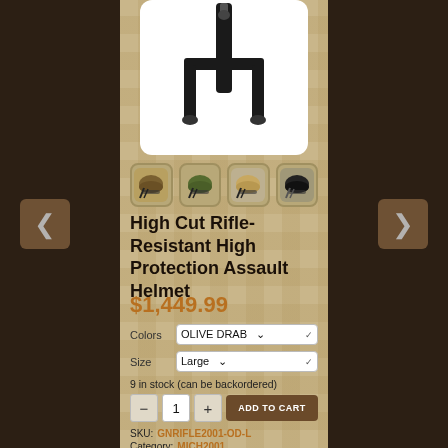[Figure (photo): Product image of a rifle sling/strap accessory on white background]
[Figure (photo): Four thumbnail images of helmets in different colors: camo, olive drab, tan/khaki, black]
High Cut Rifle-Resistant High Protection Assault Helmet
$1,449.99
Colors   OLIVE DRAB
Size   Large
9 in stock (can be backordered)
1   ADD TO CART
SKU:  GNRIFLE2001-OD-L
Category:  MICH2001